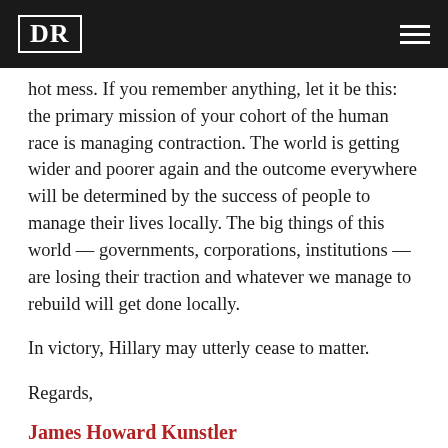DR [logo] [hamburger menu]
hot mess. If you remember anything, let it be this: the primary mission of your cohort of the human race is managing contraction. The world is getting wider and poorer again and the outcome everywhere will be determined by the success of people to manage their lives locally. The big things of this world — governments, corporations, institutions — are losing their traction and whatever we manage to rebuild will get done locally.
In victory, Hillary may utterly cease to matter.
Regards,
James Howard Kunstler